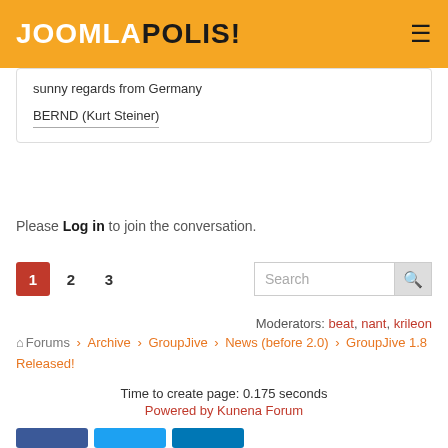JOOMLAPOLIS!
sunny regards from Germany

BERND (Kurt Steiner)
Please Log in to join the conversation.
Pagination: 1 2 3 | Search
Moderators: beat, nant, krileon
Forums > Archive > GroupJive > News (before 2.0) > GroupJive 1.8 Released!
Time to create page: 0.175 seconds
Powered by Kunena Forum